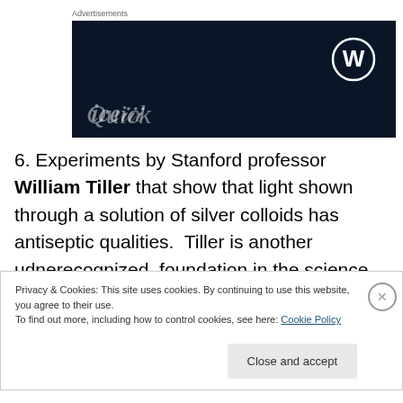Advertisements
[Figure (screenshot): Dark navy blue advertisement banner with a WordPress circular logo (W) in the top right corner and partial curved white text at the bottom left.]
6. Experiments by Stanford professor William Tiller that show that light shown through a solution of silver colloids has antiseptic qualities.  Tiller is another udnerecognized  foundation in the science ofhomeopathy.
Privacy & Cookies: This site uses cookies. By continuing to use this website, you agree to their use.
To find out more, including how to control cookies, see here: Cookie Policy
Close and accept